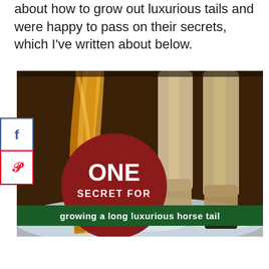about how to grow out luxurious tails and were happy to pass on their secrets, which I've written about below.
[Figure (photo): A horse's long golden tail and hooves standing in snow, with overlaid text: a dark red circle reading 'ONE SECRET FOR' and a green banner reading 'growing a long luxurious horse tail']